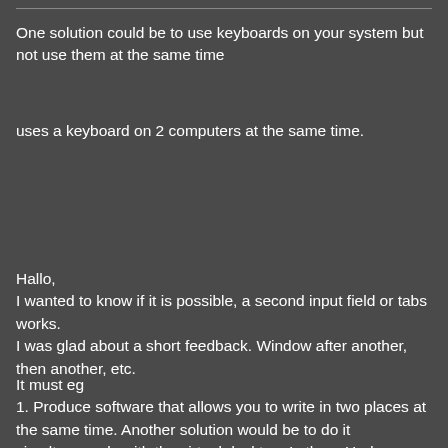One solution could be to use keyboards on your system but not use them at the same time
uses a keyboard on 2 computers at the same time.
Hallo,
I wanted to know if it is possible, a second input field or tabs works.
I was glad about a short feedback. Window after another, then another, etc.
It must eg
1. Produce software that allows you to write in two places at the same time. Another solution would be to do it simultaneously with the virtual desktop. Is there Hadware or